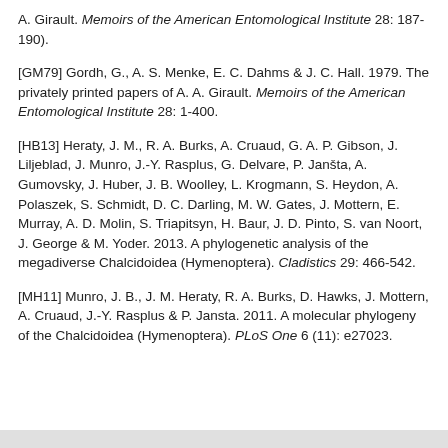A. Girault. Memoirs of the American Entomological Institute 28: 187-190).
[GM79] Gordh, G., A. S. Menke, E. C. Dahms & J. C. Hall. 1979. The privately printed papers of A. A. Girault. Memoirs of the American Entomological Institute 28: 1-400.
[HB13] Heraty, J. M., R. A. Burks, A. Cruaud, G. A. P. Gibson, J. Liljeblad, J. Munro, J.-Y. Rasplus, G. Delvare, P. Janšta, A. Gumovsky, J. Huber, J. B. Woolley, L. Krogmann, S. Heydon, A. Polaszek, S. Schmidt, D. C. Darling, M. W. Gates, J. Mottern, E. Murray, A. D. Molin, S. Triapitsyn, H. Baur, J. D. Pinto, S. van Noort, J. George & M. Yoder. 2013. A phylogenetic analysis of the megadiverse Chalcidoidea (Hymenoptera). Cladistics 29: 466-542.
[MH11] Munro, J. B., J. M. Heraty, R. A. Burks, D. Hawks, J. Mottern, A. Cruaud, J.-Y. Rasplus & P. Jansta. 2011. A molecular phylogeny of the Chalcidoidea (Hymenoptera). PLoS One 6 (11): e27023.